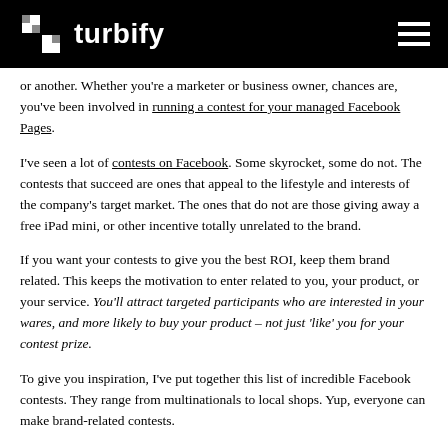turbify
or another. Whether you're a marketer or business owner, chances are, you've been involved in running a contest for your managed Facebook Pages.
I've seen a lot of contests on Facebook. Some skyrocket, some do not. The contests that succeed are ones that appeal to the lifestyle and interests of the company's target market. The ones that do not are those giving away a free iPad mini, or other incentive totally unrelated to the brand.
If you want your contests to give you the best ROI, keep them brand related. This keeps the motivation to enter related to you, your product, or your service. You'll attract targeted participants who are interested in your wares, and more likely to buy your product – not just 'like' you for your contest prize.
To give you inspiration, I've put together this list of incredible Facebook contests. They range from multinationals to local shops. Yup, everyone can make brand-related contests.